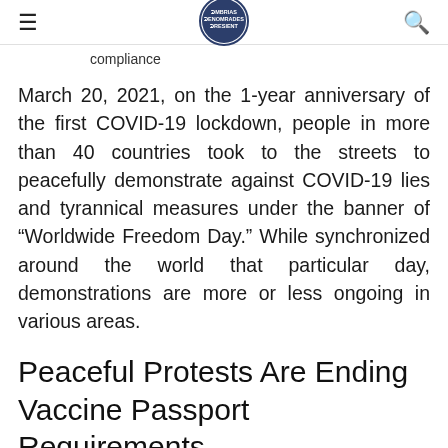≡  [logo]  🔍
compliance
March 20, 2021, on the 1-year anniversary of the first COVID-19 lockdown, people in more than 40 countries took to the streets to peacefully demonstrate against COVID-19 lies and tyrannical measures under the banner of "Worldwide Freedom Day." While synchronized around the world that particular day, demonstrations are more or less ongoing in various areas.
Peaceful Protests Are Ending Vaccine Passport Requirements